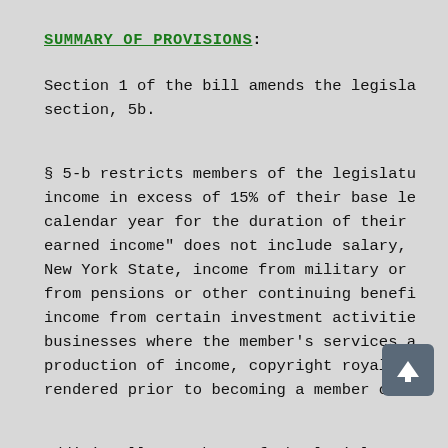SUMMARY OF PROVISIONS:
Section 1 of the bill amends the legisla section, 5b.
§ 5-b restricts members of the legislatu income in excess of 15% of their base le calendar year for the duration of their earned income" does not include salary, New York State, income from military or from pensions or other continuing benefi income from certain investment activitie businesses where the member's services a production of income, copyright royaltie rendered prior to becoming a member of t
Additionally, members of the legislature receiving compensation for practicing a